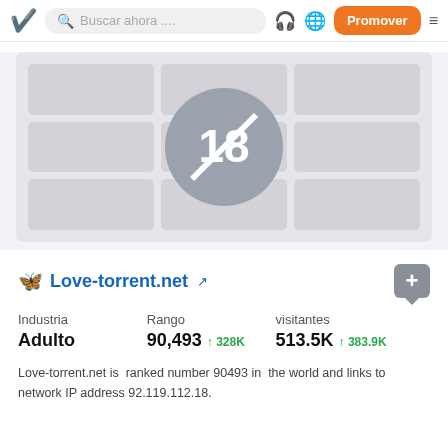Buscar ahora ... | Promover
[Figure (illustration): Age-restricted content placeholder: 3x3 grid of blurred gray tiles with an 18+ symbol (circle with 18 and a line through it) overlaid in the center]
Love-torrent.net
| Industria | Rango | visitantes |
| --- | --- | --- |
| Adulto | 90,493 ↑ 328K | 513.5K ↑ 383.9K |
Love-torrent.net is ranked number 90493 in the world and links to network IP address 92.119.112.18.